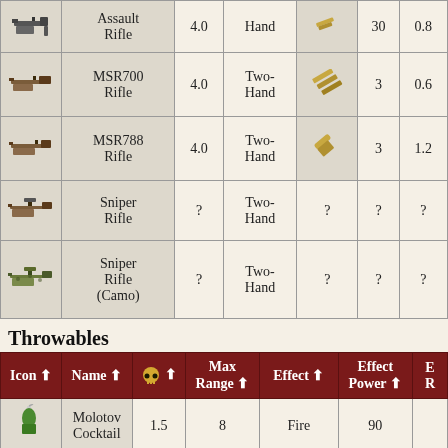| Icon | Name |  | Hand | Ammo |  |  |
| --- | --- | --- | --- | --- | --- | --- |
| [icon] | Assault Rifle | 4.0 | Hand | [ammo] | 30 | 0.8 |
| [icon] | MSR700 Rifle | 4.0 | Two-Hand | [ammo] | 3 | 0.6 |
| [icon] | MSR788 Rifle | 4.0 | Two-Hand | [ammo] | 3 | 1.2 |
| [icon] | Sniper Rifle | ? | Two-Hand | ? | ? | ? |
| [icon] | Sniper Rifle (Camo) | ? | Two-Hand | ? | ? | ? |
Throwables
| Icon | Name | [skull] | Max Range | Effect | Effect Power | E R |
| --- | --- | --- | --- | --- | --- | --- |
| [icon] | Molotov Cocktail | 1.5 | 8 | Fire | 90 |  |
| [icon] | Aerosol Bomb | 1.5 | 10 | Explosion | 70 |  |
| [icon] | Aerosol |  |  |  |  |  |